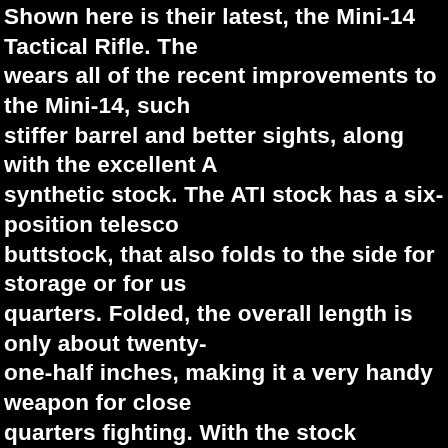Shown here is their latest, the Mini-14 Tactical Rifle. The wears all of the recent improvements to the Mini-14, such stiffer barrel and better sights, along with the excellent A synthetic stock. The ATI stock has a six-position telesco buttstock, that also folds to the side for storage or for us quarters. Folded, the overall length is only about twenty- one-half inches, making it a very handy weapon for close quarters fighting. With the stock deployed, the length of varies from ten and one-quarter to fourteen inches, maki Tactical Rifle adjustable to fit shooters of all sizes and sh is also handy to retract the buttstock a bit when wearing clothing or a protective vest., and the adjustable length m an ideal carbine that grow with youngsters. The weight o Mini-14 with the ATI stock and an empty magazine in plac seven pounds, fourteen ounces. The ATI sock has severa attachment points for a sling, in addition to the standard sling loop at the bottom of the gas block. While on the su the gas block, the Mini-14 has one of the most simple an reliable gas systems ever designed. All the parts are rob the operating handle also serves as a “forward assist” to chamber a reluctant cartridge. However, in the many thou of rounds that I have fired through various Mini-14 rifles years, I have never had to force a cartridge into the cham moving parts have plenty of heft and momentum, and ch cartridges with authority. Ejection is also forceful in the M